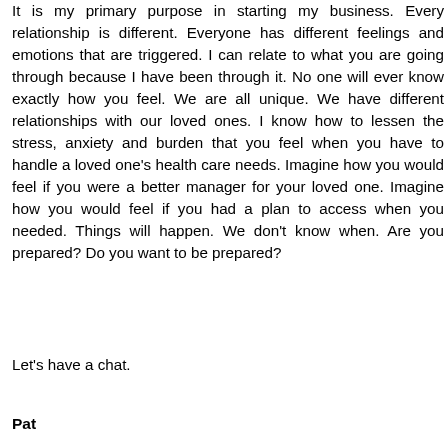It is my primary purpose in starting my business. Every relationship is different. Everyone has different feelings and emotions that are triggered. I can relate to what you are going through because I have been through it. No one will ever know exactly how you feel. We are all unique. We have different relationships with our loved ones. I know how to lessen the stress, anxiety and burden that you feel when you have to handle a loved one's health care needs. Imagine how you would feel if you were a better manager for your loved one. Imagine how you would feel if you had a plan to access when you needed. Things will happen. We don't know when. Are you prepared? Do you want to be prepared?
Let's have a chat.
Pat